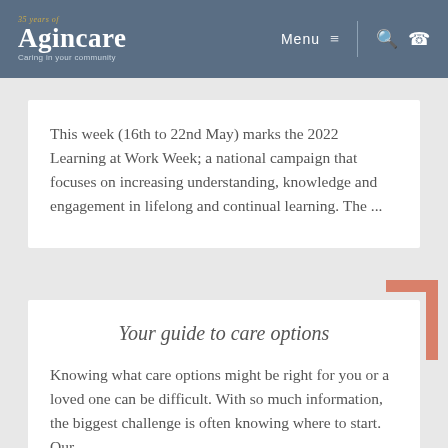35 years of Agincare — Caring in your community | Menu | Search | Phone
This week (16th to 22nd May) marks the 2022 Learning at Work Week; a national campaign that focuses on increasing understanding, knowledge and engagement in lifelong and continual learning. The ...
Your guide to care options
Knowing what care options might be right for you or a loved one can be difficult. With so much information, the biggest challenge is often knowing where to start. Our ...